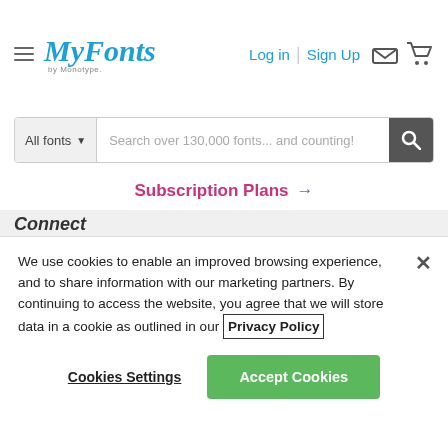[Figure (screenshot): MyFonts by Monotype logo in blue italic handwriting style]
Log in | Sign Up
All fonts ▼  Search over 130,000 fonts... and counting!
Subscription Plans →
Connect
Subscribe to our newsletters
Subscribe
[Figure (illustration): Social media icons: Instagram, Twitter, Pinterest, Facebook]
We use cookies to enable an improved browsing experience, and to share information with our marketing partners. By continuing to access the website, you agree that we will store data in a cookie as outlined in our Privacy Policy
Cookies Settings   Accept Cookies